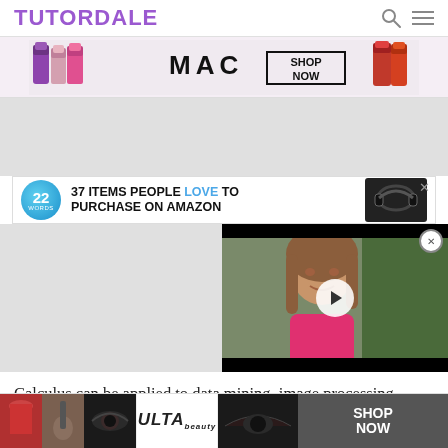TUTORDALE
[Figure (photo): MAC cosmetics advertisement banner with lipsticks and SHOP NOW button]
[Figure (other): Gray placeholder advertising area]
[Figure (other): 22 Words advertisement: 37 ITEMS PEOPLE LOVE TO PURCHASE ON AMAZON with headphones image]
[Figure (photo): Video player overlay showing a girl in pink shirt with play button]
Calculus can be applied to data mining, image processing, simulating 3D visuals, computer graphics, and [CLOSE] ation of phy[...] and advan[...]
[Figure (photo): ULTA beauty advertisement banner with makeup images and SHOP NOW button]